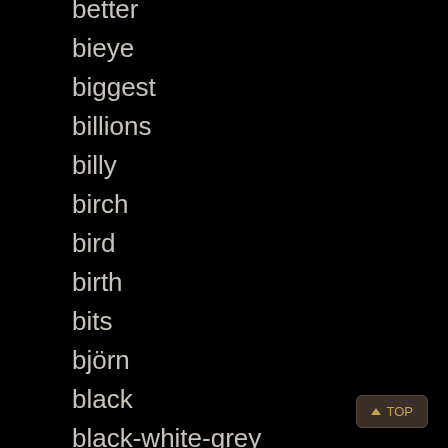better
bieye
biggest
billions
billy
birch
bird
birth
bits
björn
black
black-white-grey
blank
bless
blinkies
blizzconline
block
bloody